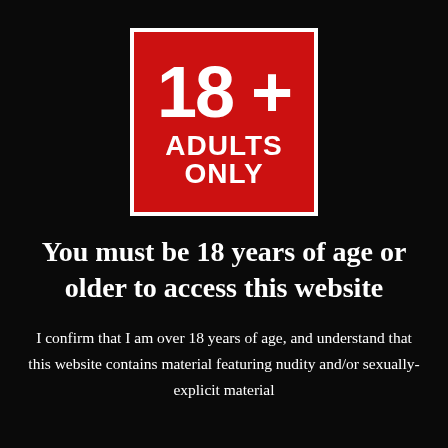[Figure (illustration): Red square badge with white border containing '18+' in large bold white text and 'ADULTS ONLY' below it in bold white capital letters, on a black background]
You must be 18 years of age or older to access this website
I confirm that I am over 18 years of age, and understand that this website contains material featuring nudity and/or sexually-explicit material